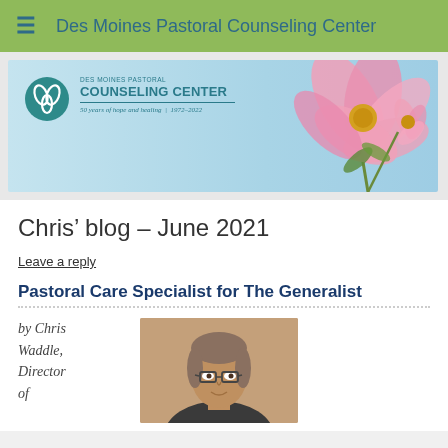Des Moines Pastoral Counseling Center
[Figure (illustration): Des Moines Pastoral Counseling Center banner with logo, organization name, tagline '50 years of hope and healing | 1972-2022', and a pink cosmos flower on light blue background]
Chris' blog – June 2021
Leave a reply
Pastoral Care Specialist for The Generalist
by Chris Waddle, Director of ...
[Figure (photo): Portrait photo of a man with glasses and gray/brown hair against a beige/tan background]